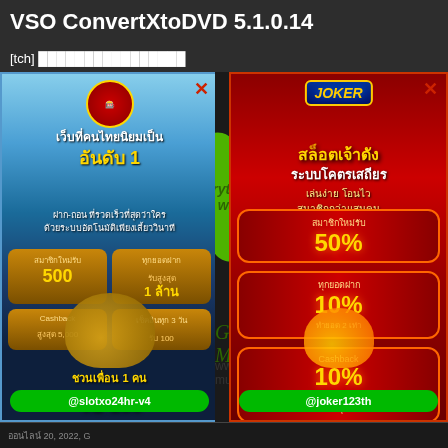VSO ConvertXtoDVD 5.1.0.14
[tch] ████████████████
[Figure (screenshot): Left advertisement banner for slotxo24hr-v4 casino with Thai text, showing signup bonus 500, cashback 5,000, invite bonus 100, LINE @slotxo24hr-v4]
[Figure (screenshot): Center green area showing text 'everything you want', Game-Mun branding, www.game-mun.com URL]
[Figure (screenshot): Right advertisement banner for Joker123th casino with Thai text showing 50% new member bonus, 10% deposit bonus, 10% cashback, LINE @joker123th]
ออนไลน์ 20, 2022, G